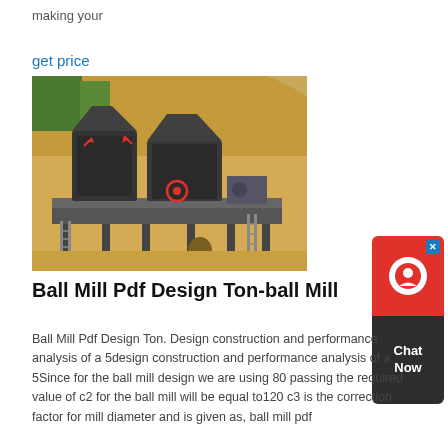making your
get price
[Figure (photo): Industrial ball mill crushing equipment on a raised steel platform at a construction/mining site with sandy earthen mound in background. Two large dark crusher units visible with red circle markers and arrows indicating components.]
Ball Mill Pdf Design Ton-ball Mill
Ball Mill Pdf Design Ton. Design construction and performance analysis of a 5design construction and performance analysis of a 5Since for the ball mill design we are using 80 passing the required value of c2 for the ball mill will be equal to120 c3 is the correction factor for mill diameter and is given as, ball mill pdf